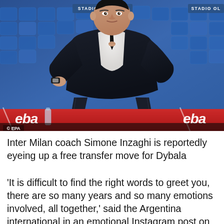[Figure (photo): Inter Milan coach Simone Inzaghi sitting in a dugout chair at Stadio Olimpico, wearing a dark suit, with blue stadium seats visible in the background and red advertising boards reading 'eba'. EPA photo credit shown bottom left.]
© EPA
Inter Milan coach Simone Inzaghi is reportedly eyeing up a free transfer move for Dybala
'It is difficult to find the right words to greet you, there are so many years and so many emotions involved, all together,' said the Argentina international in an emotional Instagram post on